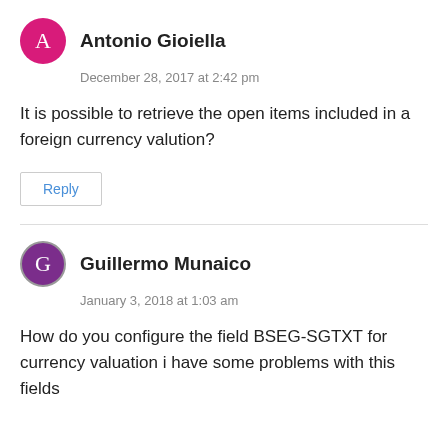Antonio Gioiella
December 28, 2017 at 2:42 pm
It is possible to retrieve the open items included in a foreign currency valution?
Reply
Guillermo Munaico
January 3, 2018 at 1:03 am
How do you configure the field BSEG-SGTXT for currency valuation i have some problems with this fields